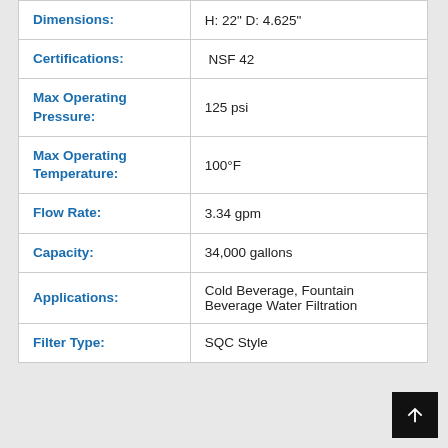| Attribute | Value |
| --- | --- |
| Dimensions: | H: 22" D: 4.625" |
| Certifications: | NSF 42 |
| Max Operating Pressure: | 125 psi |
| Max Operating Temperature: | 100°F |
| Flow Rate: | 3.34 gpm |
| Capacity: | 34,000 gallons |
| Applications: | Cold Beverage, Fountain Beverage Water Filtration |
| Filter Type: | SQC Style |